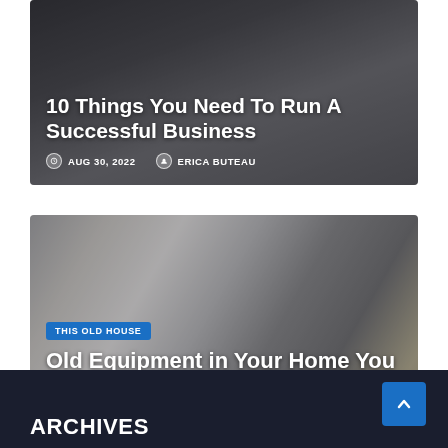[Figure (photo): Dark business office photo showing people in a meeting around a table with laptops, used as background for an article card titled '10 Things You Need To Run A Successful Business']
10 Things You Need To Run A Successful Business
AUG 30, 2022   ERICA BUTEAU
[Figure (photo): Kitchen photo showing modern white kitchen with stainless steel refrigerator and black microwave/oven, used as background for article card titled 'Old Equipment in Your Home You Need to Schedule']
THIS OLD HOUSE
Old Equipment in Your Home You Need to Schedule
AUG 30, 2022   EMMA STURGIS
ARCHIVES